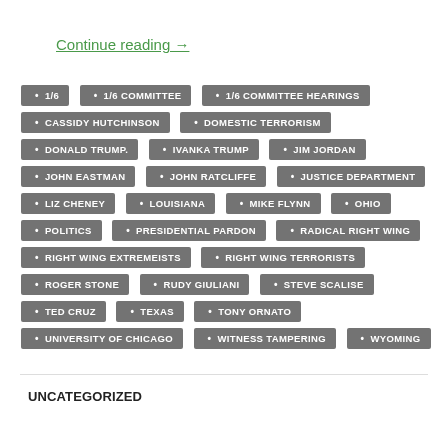Continue reading →
1/6 • 1/6 COMMITTEE • 1/6 COMMITTEE HEARINGS • CASSIDY HUTCHINSON • DOMESTIC TERRORISM • DONALD TRUMP. • IVANKA TRUMP • JIM JORDAN • JOHN EASTMAN • JOHN RATCLIFFE • JUSTICE DEPARTMENT • LIZ CHENEY • LOUISIANA • MIKE FLYNN • OHIO • POLITICS • PRESIDENTIAL PARDON • RADICAL RIGHT WING • RIGHT WING EXTREMEISTS • RIGHT WING TERRORISTS • ROGER STONE • RUDY GIULIANI • STEVE SCALISE • TED CRUZ • TEXAS • TONY ORNATO • UNIVERSITY OF CHICAGO • WITNESS TAMPERING • WYOMING
UNCATEGORIZED